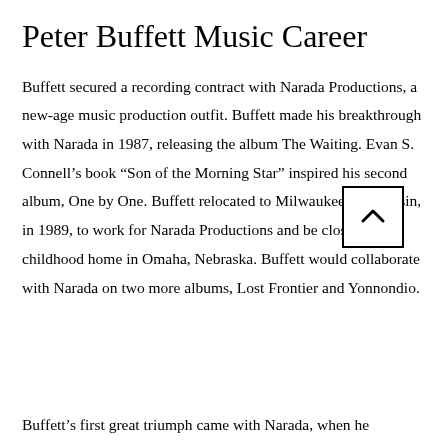Peter Buffett Music Career
Buffett secured a recording contract with Narada Productions, a new-age music production outfit. Buffett made his breakthrough with Narada in 1987, releasing the album The Waiting. Evan S. Connell’s book “Son of the Morning Star” inspired his second album, One by One. Buffett relocated to Milwaukee, Wisconsin, in 1989, to work for Narada Productions and be closer to his childhood home in Omaha, Nebraska. Buffett would collaborate with Narada on two more albums, Lost Frontier and Yonnondio.
Buffett’s first great triumph came with Narada, when he